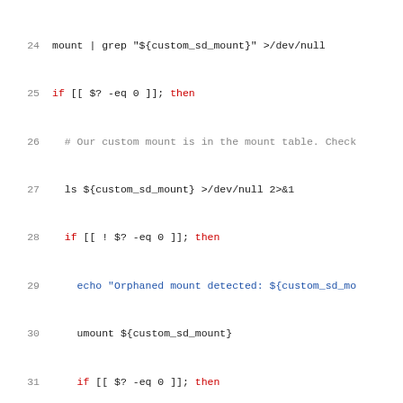[Figure (screenshot): Code listing showing shell script lines 24-46 with syntax highlighting. Line numbers in gray, keywords in red, code in dark/blue colors.]